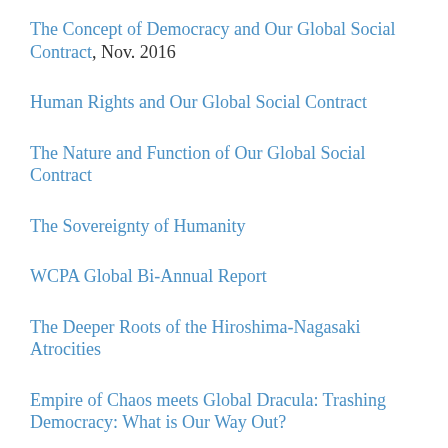The Concept of Democracy and Our Global Social Contract, Nov. 2016
Human Rights and Our Global Social Contract
The Nature and Function of Our Global Social Contract
The Sovereignty of Humanity
WCPA Global Bi-Annual Report
The Deeper Roots of the Hiroshima-Nagasaki Atrocities
Empire of Chaos meets Global Dracula: Trashing Democracy: What is Our Way Out?